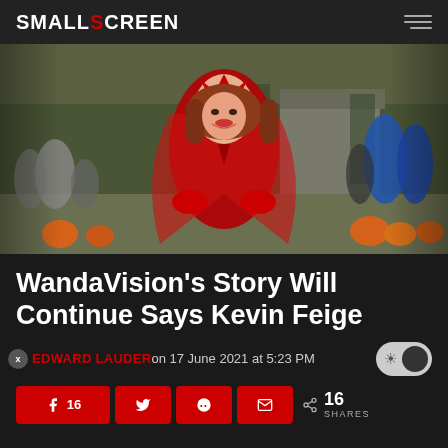SMALL SCREEN
[Figure (photo): Woman dressed in red Scarlet Witch costume at a Halloween outdoor scene with pumpkins and crowd in background]
WandaVision's Story Will Continue Says Kevin Feige
EDWARD LAUDER on 17 June 2021 at 5:23 PM
16 SHARES — Facebook 16, Twitter, Reddit, Email share buttons